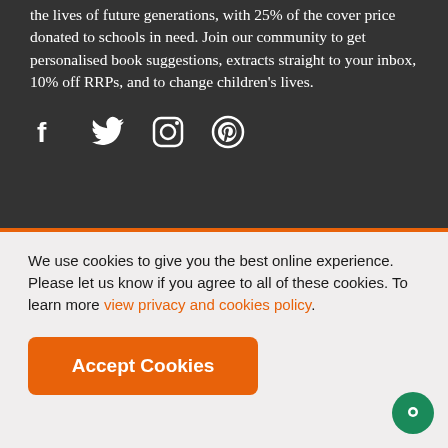the lives of future generations, with 25% of the cover price donated to schools in need. Join our community to get personalised book suggestions, extracts straight to your inbox, 10% off RRPs, and to change children's lives.
[Figure (infographic): Social media icons: Facebook, Twitter, Instagram, Pinterest displayed in white on dark background]
We use cookies to give you the best online experience. Please let us know if you agree to all of these cookies. To learn more view privacy and cookies policy.
[Figure (other): Accept Cookies button - orange rounded rectangle with white bold text]